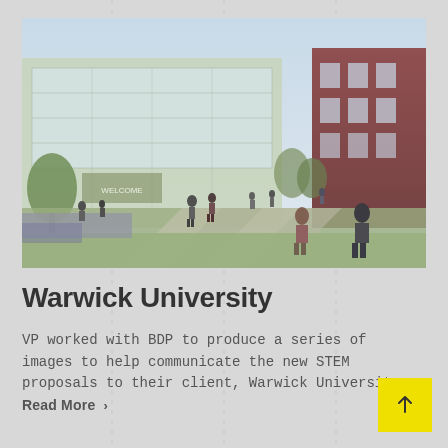[Figure (photo): Architectural rendering of Warwick University STEM building campus with people walking in foreground, modern glass and brick buildings, landscaped paths and greenery]
Warwick University
VP worked with BDP to produce a series of images to help communicate the new STEM proposals to their client, Warwick University.
Read More >